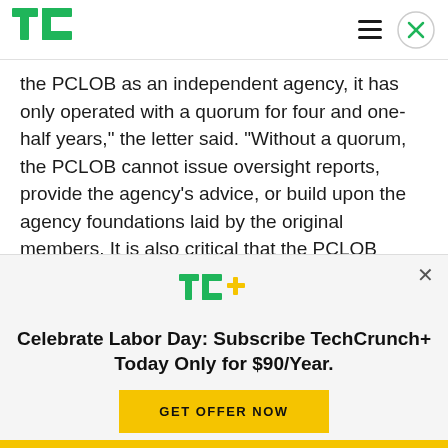TechCrunch
the PCLOB as an independent agency, it has only operated with a quorum for four and one-half years," the letter said. “Without a quorum, the PCLOB cannot issue oversight reports, provide the agency’s advice, or build upon the agency foundations laid by the original members. It is also critical that the PCLOB operate with a full bipartisan
[Figure (logo): TechCrunch+ logo with green TC and yellow + sign]
Celebrate Labor Day: Subscribe TechCrunch+ Today Only for $90/Year.
GET OFFER NOW